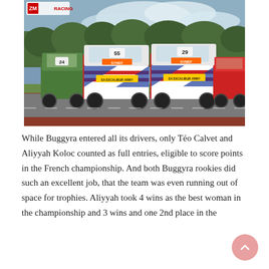[Figure (photo): Racing trucks on a circuit track. Two white trucks with numbers 55 and 29 branded with Excalibur Army and Synef sponsorship lead the pack, with number 24 visible behind. Trees and cloudy sky in background. ZM Racing logo visible in top left corner.]
While Buggyra entered all its drivers, only Téo Calvet and Aliyyah Koloc counted as full entries, eligible to score points in the French championship. And both Buggyra rookies did such an excellent job, that the team was even running out of space for trophies. Aliyyah took 4 wins as the best woman in the championship and 3 wins and one 2nd place in the